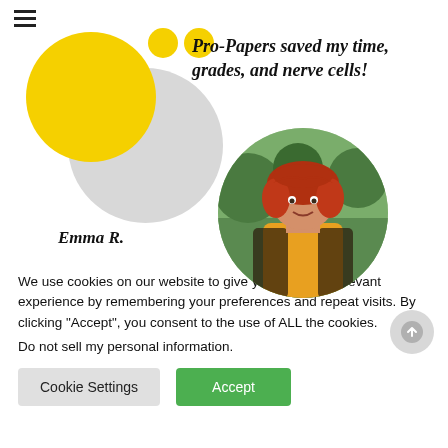[Figure (screenshot): Website screenshot showing a testimonial section with decorative yellow and gray circles, a profile photo of a woman with red hair, and the name Emma R. Text reads: Pro-Papers saved my time, grades, and nerve cells!]
We use cookies on our website to give you the most relevant experience by remembering your preferences and repeat visits. By clicking “Accept”, you consent to the use of ALL the cookies.
Do not sell my personal information.
Cookie Settings
Accept